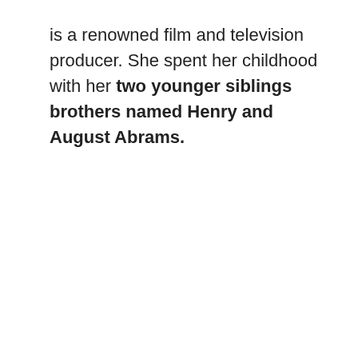is a renowned film and television producer. She spent her childhood with her two younger siblings brothers named Henry and August Abrams.